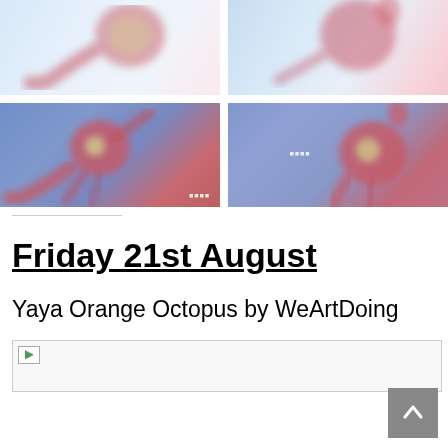[Figure (photo): Top row: two blurred images of an animated octopus character on blue background — left shows partial body/tentacles, right shows more of the character with red/pink coloring]
[Figure (photo): Bottom row: two blurred images of the Yaya Orange Octopus character against blue background — left shows full body with tentacles, right shows a standing pose; both have a small watermark logo]
Friday 21st August
Yaya Orange Octopus by WeArtDoing
[Figure (photo): Broken/loading image placeholder at bottom of page]